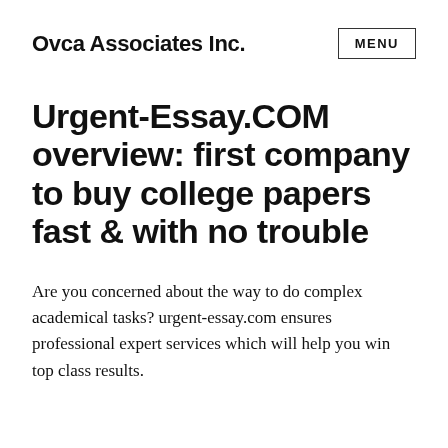Ovca Associates Inc.
Urgent-Essay.COM overview: first company to buy college papers fast & with no trouble
Are you concerned about the way to do complex academical tasks? urgent-essay.com ensures professional expert services which will help you win top class results.